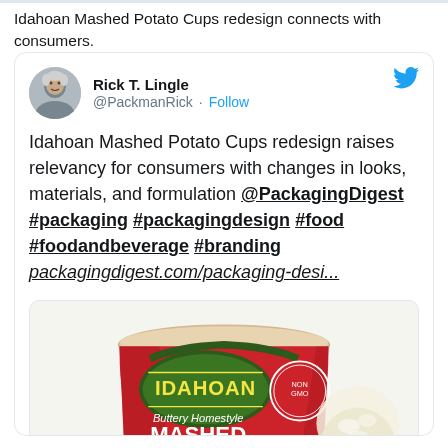Idahoan Mashed Potato Cups redesign connects with consumers.
Rick T. Lingle @PackmanRick · Follow
Idahoan Mashed Potato Cups redesign raises relevancy for consumers with changes in looks, materials, and formulation @PackagingDigest #packaging #packagingdesign #food #foodandbeverage #branding packagingdigest.com/packaging-desi...
[Figure (photo): Idahoan Buttery Homestyle Mashed Potatoes red cup product photo]